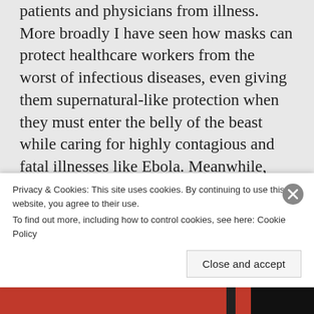patients and physicians from illness. More broadly I have seen how masks can protect healthcare workers from the worst of infectious diseases, even giving them supernatural-like protection when they must enter the belly of the beast while caring for highly contagious and fatal illnesses like Ebola. Meanwhile, each and every day, healthcare workers all over the world, including my own family members are able to avoid infection while caring for hospitalized Covid patients who are often spewing the virus everywhere. It's incontrovertible – masks truly work!; they prevent Covid infection...
Privacy & Cookies: This site uses cookies. By continuing to use this website, you agree to their use.
To find out more, including how to control cookies, see here: Cookie Policy
Close and accept